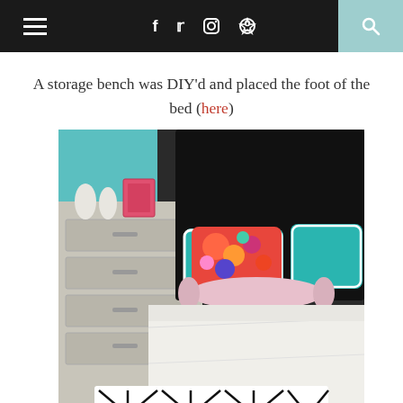Navigation bar with hamburger menu, social icons (f, twitter, instagram, pinterest), and search
A storage bench was DIY'd and placed the foot of the bed (here)
[Figure (photo): Bedroom interior showing a bed with white bedding, colorful teal and floral pillows against a dark headboard, a grey dresser in the background, and a black and white geometric patterned storage bench at the foot of the bed]